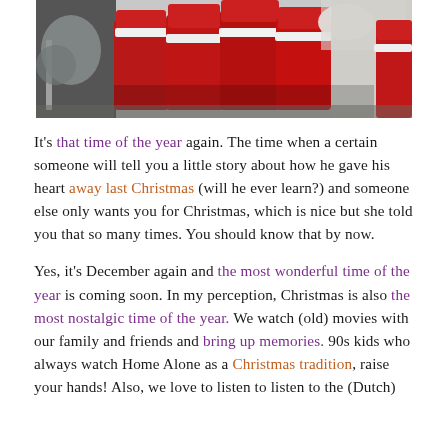[Figure (photo): A row of people dressed in red and white Santa Claus costumes, photographed from behind/side, holding or wearing large Santa hats with white fur trim. The image appears to be from a vintage television show or performance.]
It's that time of the year again. The time when a certain someone will tell you a little story about how he gave his heart away last Christmas (will he ever learn?) and someone else only wants you for Christmas, which is nice but she told you that so many times. You should know that by now.
Yes, it's December again and the most wonderful time of the year is coming soon. In my perception, Christmas is also the most nostalgic time of the year. We watch (old) movies with our family and friends and bring up memories. 90s kids who always watch Home Alone as a Christmas tradition, raise your hands! Also, we love to listen to listen to the (Dutch)